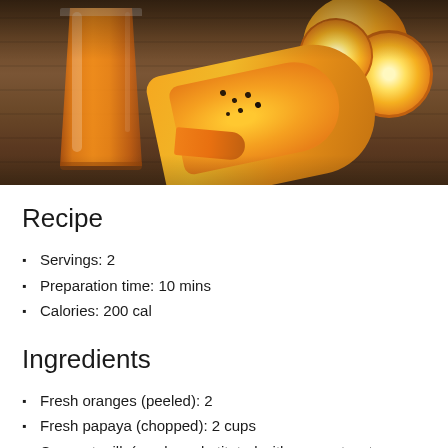[Figure (photo): A tall glass of orange papaya juice next to sliced papaya and orange slices on a wooden table]
Recipe
Servings: 2
Preparation time: 10 mins
Calories: 200 cal
Ingredients
Fresh oranges (peeled): 2
Fresh papaya (chopped): 2 cups
Coconut milk (can be substituted with coconut water or regular